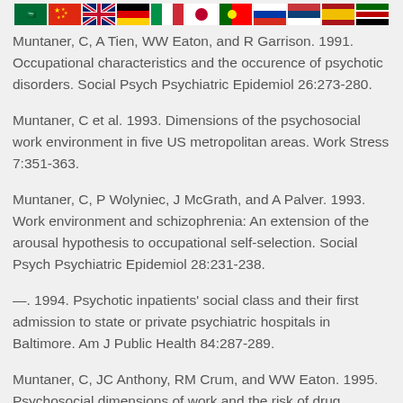[Figure (illustration): Row of country flag icons: Saudi Arabia, China, UK, Germany, Italy, Japan, Portugal, Russia, Serbia, Spain, Kenya]
Muntaner, C, A Tien, WW Eaton, and R Garrison. 1991. Occupational characteristics and the occurence of psychotic disorders. Social Psych Psychiatric Epidemiol 26:273-280.
Muntaner, C et al. 1993. Dimensions of the psychosocial work environment in five US metropolitan areas. Work Stress 7:351-363.
Muntaner, C, P Wolyniec, J McGrath, and A Palver. 1993. Work environment and schizophrenia: An extension of the arousal hypothesis to occupational self-selection. Social Psych Psychiatric Epidemiol 28:231-238.
—. 1994. Psychotic inpatients' social class and their first admission to state or private psychiatric hospitals in Baltimore. Am J Public Health 84:287-289.
Muntaner, C, JC Anthony, RM Crum, and WW Eaton. 1995. Psychosocial dimensions of work and the risk of drug...